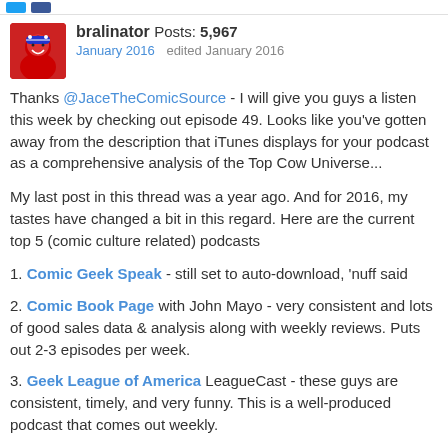bralinator Posts: 5,967
January 2016   edited January 2016
Thanks @JaceTheComicSource - I will give you guys a listen this week by checking out episode 49. Looks like you've gotten away from the description that iTunes displays for your podcast as a comprehensive analysis of the Top Cow Universe...
My last post in this thread was a year ago. And for 2016, my tastes have changed a bit in this regard. Here are the current top 5 (comic culture related) podcasts
1. Comic Geek Speak - still set to auto-download, 'nuff said
2. Comic Book Page with John Mayo - very consistent and lots of good sales data & analysis along with weekly reviews. Puts out 2-3 episodes per week.
3. Geek League of America LeagueCast - these guys are consistent, timely, and very funny. This is a well-produced podcast that comes out weekly.
4. Comics for Fans and Profit - placeholder text cut off